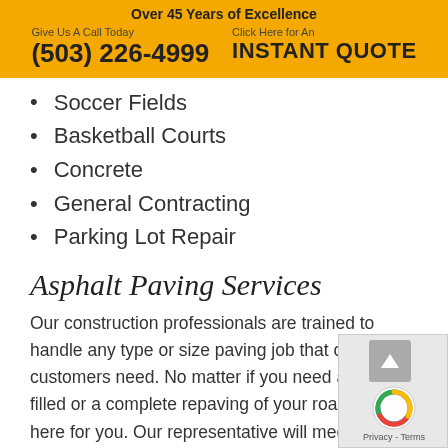Over 45 Years of Excellence
Give Us A Call Today
(503) 226-4999
Click Here for An
INSTANT QUOTE
Soccer Fields
Basketball Courts
Concrete
General Contracting
Parking Lot Repair
Asphalt Paving Services
Our construction professionals are trained to handle any type or size paving job that our customers need. No matter if you need a pothole filled or a complete repaving of your road, we are here for you. Our representative will meet with you and provide you with an estimate for any residential, commercial, industrial project. We complete ADA compliant and can serve your needs for roadways, private access